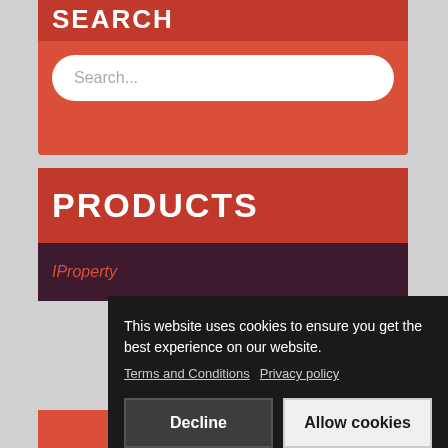SEARCH
Search...
PRODUCTS
IProperty
This website uses cookies to ensure you get the best experience on our website. Terms and Conditions  Privacy policy
Decline
Allow cookies